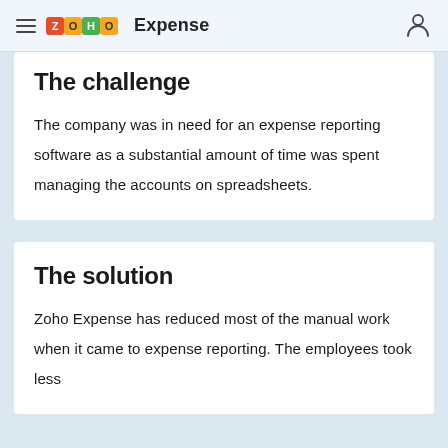Zoho Expense
The challenge
The company was in need for an expense reporting software as a substantial amount of time was spent managing the accounts on spreadsheets.
The solution
Zoho Expense has reduced most of the manual work when it came to expense reporting. The employees took less